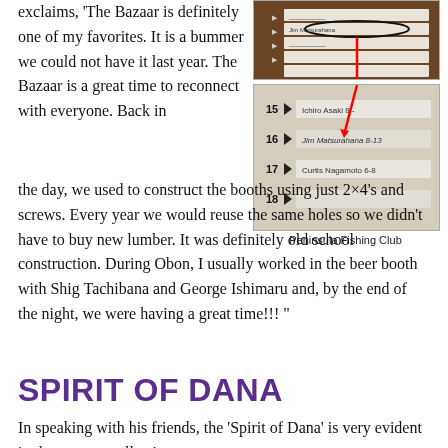exclaims, 'The Bazaar is definitely one of my favorites. It is a bummer we could not have it last year. The Bazaar is a great time to reconnect with everyone. Back in the day, we used to construct the booths using just 2×4's and screws. Every year we would reuse the same holes so we didn't have to buy new lumber. It was definitely old school construction. During Obon, I usually worked in the beer booth with Shig Tachibana and George Ishimaru and, by the end of the night, we were having a great time!!! "
[Figure (photo): Two photos of a fishing/tournament sign-up board showing numbered slots with names. A red arrow circle highlights one entry in the top photo, and the bottom photo shows rows 15-18 with handwritten names including 'Jim Matsurahana' (circled with red arrow) and 'Curtis Nagamoto'.]
Peninsula Fishing Club
SPIRIT OF DANA
In speaking with his friends, the 'Spirit of Dana' is very evident in the many recollections: